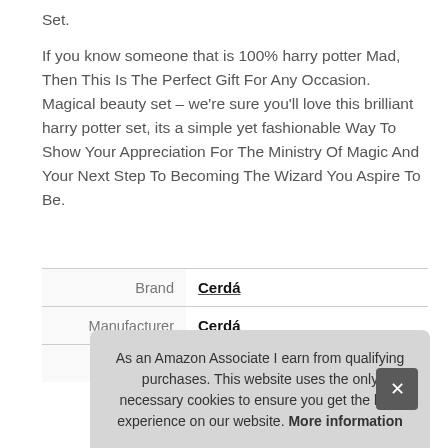Set.

If you know someone that is 100% harry potter Mad, Then This Is The Perfect Gift For Any Occasion. Magical beauty set – we're sure you'll love this brilliant harry potter set, its a simple yet fashionable Way To Show Your Appreciation For The Ministry Of Magic And Your Next Step To Becoming The Wizard You Aspire To Be.
|  |  |
| --- | --- |
| Brand | Cerdá |
| Manufacturer | Cerdá |
| Part Number | CCCC-1200 |
As an Amazon Associate I earn from qualifying purchases. This website uses the only necessary cookies to ensure you get the best experience on our website. More information